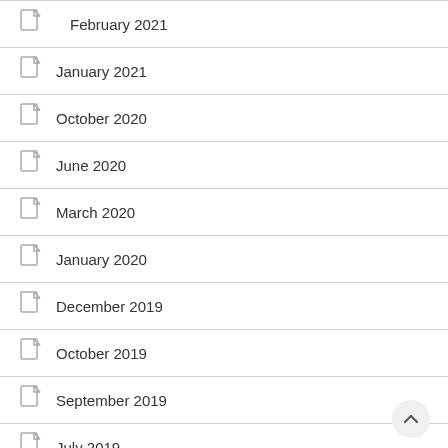February 2021
January 2021
October 2020
June 2020
March 2020
January 2020
December 2019
October 2019
September 2019
July 2019
June 2019
May 2019
April 2019
March 2019